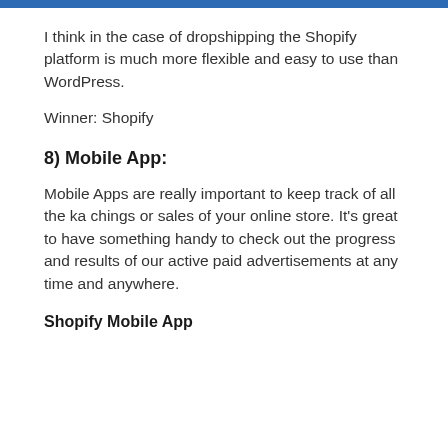[Figure (other): Blue horizontal bar at top of page]
I think in the case of dropshipping the Shopify platform is much more flexible and easy to use than WordPress.
Winner: Shopify
8) Mobile App:
Mobile Apps are really important to keep track of all the ka chings or sales of your online store. It’s great to have something handy to check out the progress and results of our active paid advertisements at any time and anywhere.
Shopify Mobile App